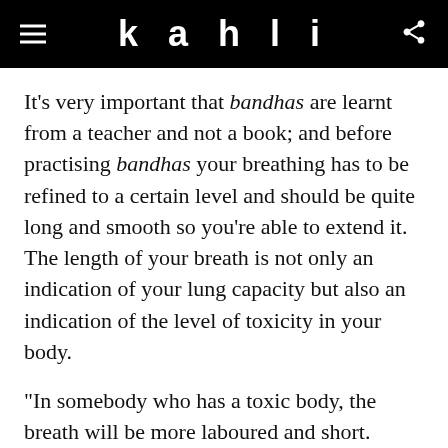kahli
It's very important that bandhas are learnt from a teacher and not a book; and before practising bandhas your breathing has to be refined to a certain level and should be quite long and smooth so you're able to extend it. The length of your breath is not only an indication of your lung capacity but also an indication of the level of toxicity in your body.
“In somebody who has a toxic body, the breath will be more laboured and short. These people will need to learn how to extend their breath and become a bit more flexible in the postures before they are ready